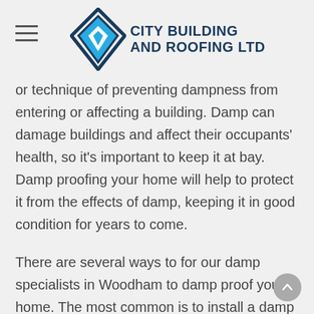City Building and Roofing Ltd
or technique of preventing dampness from entering or affecting a building. Damp can damage buildings and affect their occupants' health, so it's important to keep it at bay. Damp proofing your home will help to protect it from the effects of damp, keeping it in good condition for years to come.
There are several ways to for our damp specialists in Woodham to damp proof your home. The most common is to install a damp proof course (DPC) which